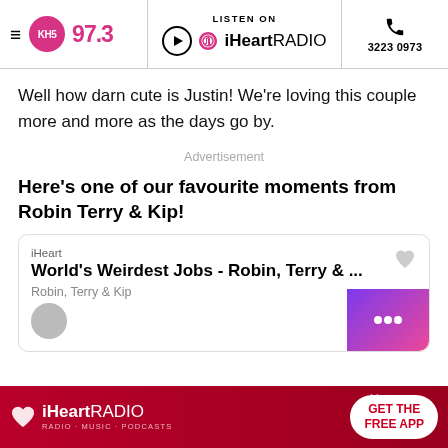KH5 97.3 | LISTEN ON iHeartRADIO | 3223 0973
Well how darn cute is Justin! We're loving this couple more and more as the days go by.
Advertisement
Here's one of our favourite moments from Robin Terry & Kip!
[Figure (other): iHeart audio card: World's Weirdest Jobs - Robin, Terry & ... by Robin, Terry & Kip]
[Figure (other): iHeartRADIO advertisement banner with GET THE FREE APP button]